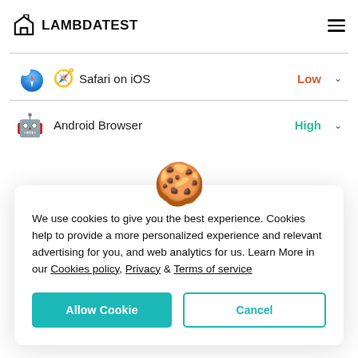[Figure (logo): LambdaTest logo with house-arrow icon and bold text LAMBDATEST]
Safari on iOS — Low
Android Browser — High
We use cookies to give you the best experience. Cookies help to provide a more personalized experience and relevant advertising for you, and web analytics for us. Learn More in our Cookies policy, Privacy & Terms of service
Allow Cookie | Cancel